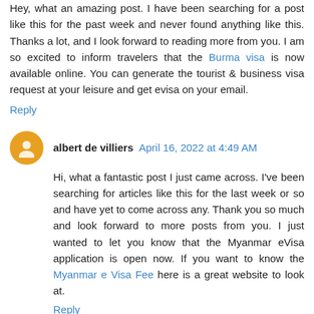Hey, what an amazing post. I have been searching for a post like this for the past week and never found anything like this. Thanks a lot, and I look forward to reading more from you. I am so excited to inform travelers that the Burma visa is now available online. You can generate the tourist & business visa request at your leisure and get evisa on your email.
Reply
albert de villiers  April 16, 2022 at 4:49 AM
Hi, what a fantastic post I just came across. I've been searching for articles like this for the last week or so and have yet to come across any. Thank you so much and look forward to more posts from you. I just wanted to let you know that the Myanmar eVisa application is open now. If you want to know the Myanmar e Visa Fee here is a great website to look at.
Reply
dipenchy sharma  April 29, 2022 at 6:48 AM